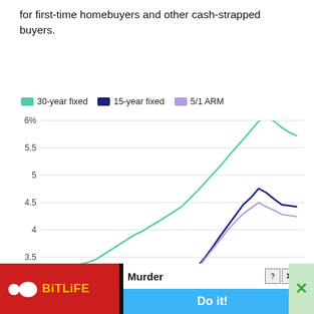for first-time homebuyers and other cash-strapped buyers.
[Figure (line-chart): Weekly mortgage rates over the last 12 months]